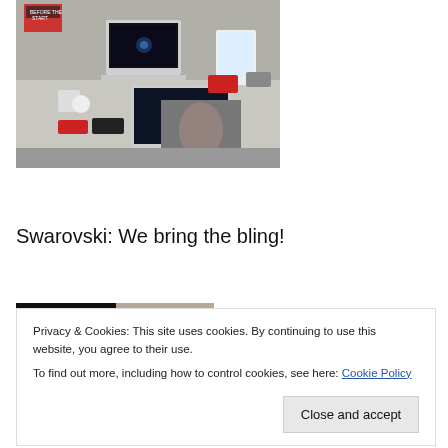[Figure (photo): Photo of a trade show booth display with laptops, tablets, and gaming accessories on a white table. Signs and product displays visible in background.]
Swarovski: We bring the bling!
[Figure (photo): Partial photo of people, appears to be at an event or trade show, cropped at bottom of page.]
Privacy & Cookies: This site uses cookies. By continuing to use this website, you agree to their use.
To find out more, including how to control cookies, see here: Cookie Policy
Close and accept